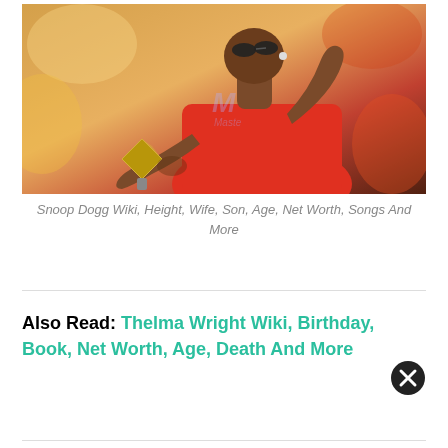[Figure (photo): A man in a red t-shirt holding a gold diamond-shaped microphone, looking upward with one hand raised, performing on stage. Background has colorful bokeh lighting. A watermark logo is visible in the center of the image.]
Snoop Dogg Wiki, Height, Wife, Son, Age, Net Worth, Songs And More
Also Read: Thelma Wright Wiki, Birthday, Book, Net Worth, Age, Death And More